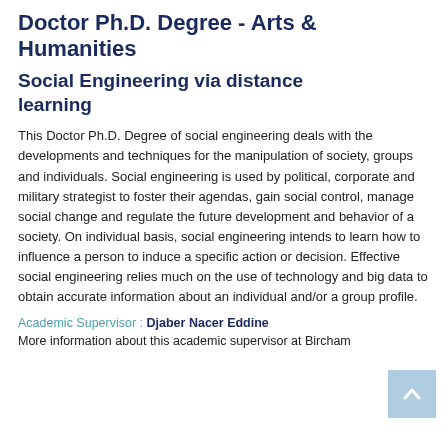Doctor Ph.D. Degree - Arts & Humanities
Social Engineering via distance learning
This Doctor Ph.D. Degree of social engineering deals with the developments and techniques for the manipulation of society, groups and individuals. Social engineering is used by political, corporate and military strategist to foster their agendas, gain social control, manage social change and regulate the future development and behavior of a society. On individual basis, social engineering intends to learn how to influence a person to induce a specific action or decision. Effective social engineering relies much on the use of technology and big data to obtain accurate information about an individual and/or a group profile.
Academic Supervisor : Djaber Nacer Eddine
More information about this academic supervisor at Bircham